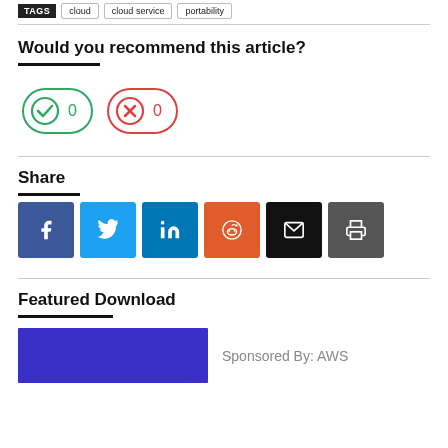TAGS  cloud  cloud service  portability
Would you recommend this article?
[Figure (infographic): Two voting buttons: a green checkmark button showing 0 votes and a red X button showing 0 votes]
Share
[Figure (infographic): Six social share icon buttons: Facebook, Twitter, LinkedIn, Reddit, Email, Print]
Featured Download
[Figure (infographic): Featured download thumbnail with blue background and Sponsored By: AWS text]